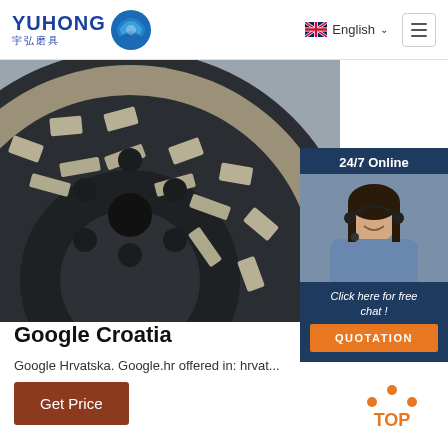YUHONG 宇弘磨具 | English | Menu
[Figure (photo): Close-up photo of a diamond grinding cup wheel showing abrasive segments on a dark metal disc]
[Figure (photo): 24/7 Online chat agent - woman with headset smiling, with 'Click here for free chat!' and QUOTATION button]
Google Croatia
Google Hrvatska. Google.hr offered in: hrvat...
Get Price
[Figure (other): TOP navigation button with orange dots forming an arc above the word TOP in orange]